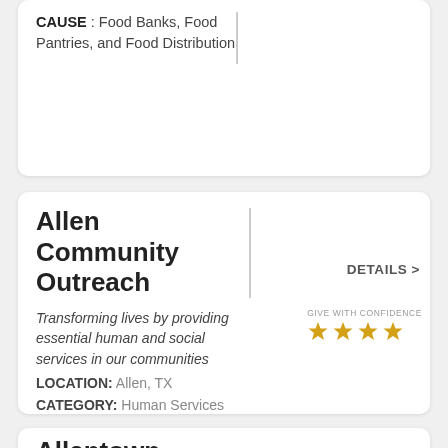CAUSE : Food Banks, Food Pantries, and Food Distribution
Allen Community Outreach
Transforming lives by providing essential human and social services in our communities
LOCATION: Allen, TX
CATEGORY: Human Services
CAUSE : Social Services
[Figure (infographic): Give With Confidence badge with 4 gold stars]
Allentown